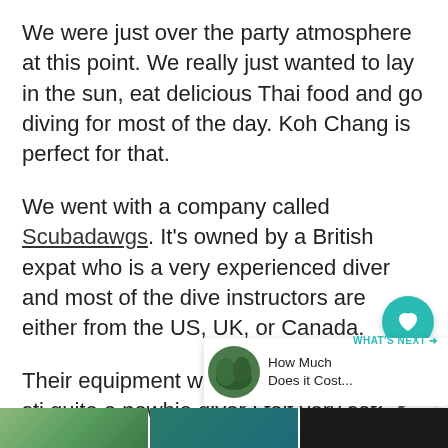We were just over the party atmosphere at this point. We really just wanted to lay in the sun, eat delicious Thai food and go diving for most of the day. Koh Chang is perfect for that.
We went with a company called Scubadawgs. It's owned by a British expat who is a very experienced diver and most of the dive instructors are either from the US, UK, or Canada.
Their equipment was top quality and as sti quite a newbie diver I felt very safe di these guys.
[Figure (other): Bottom image strip showing partial photographs - green foliage on left, teal water in center, dark image on right]